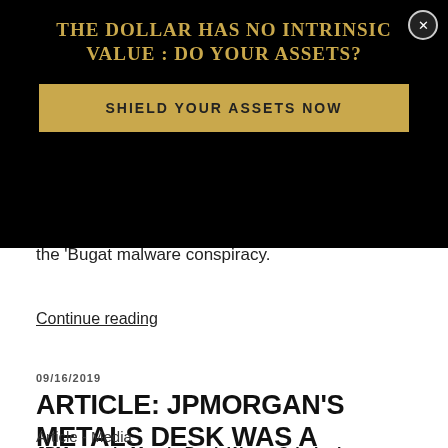[Figure (other): Advertisement overlay on black background with gold headline 'THE DOLLAR HAS NO INTRINSIC VALUE : DO YOUR ASSETS?' and gold CTA button 'SHIELD YOUR ASSETS NOW']
also indicted in Pittsburgh for his role related to the 'Bugat malware conspiracy.
Continue reading
09/16/2019
ARTICLE: JPMORGAN'S METALS DESK WAS A CRIMINAL ENTERPRISE, U.S. SAYS
Article - Media
JPMorgan's Metals Desk Was a Criminal Enterprise, U.S. Says